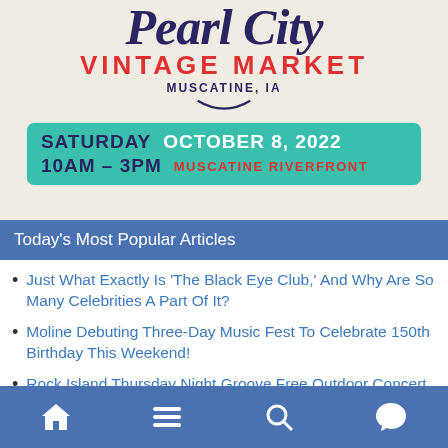[Figure (illustration): Pearl City Vintage Market advertisement poster. Shows decorative script text partially visible at top, 'VINTAGE MARKET' in red, 'MUSCATINE, IA' in dark blue, a smile arc, and a teal banner reading 'SATURDAY OCTOBER 8, 2022 / 10AM - 3PM MUSCATINE RIVERFRONT'.]
Today's Most Popular Articles
Just What Exactly Is ‘The Black Eye Club,’ And Why Are So Many Celebrities A Part Of It?
Moline Debuting Three-Day Music Fest To Celebrate 150th Birthday This Weekend!
Rock Island Thursday Night Groove Free Outdoor Concert Welcomes Ivan Singh ‘Singin’ The Blues